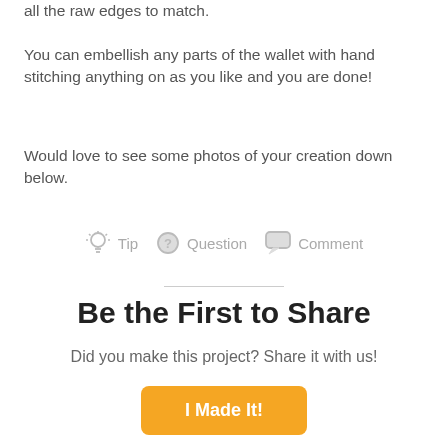all the raw edges to match.
You can embellish any parts of the wallet with hand stitching anything on as you like and you are done!
Would love to see some photos of your creation down below.
Tip  Question  Comment
Be the First to Share
Did you make this project? Share it with us!
I Made It!